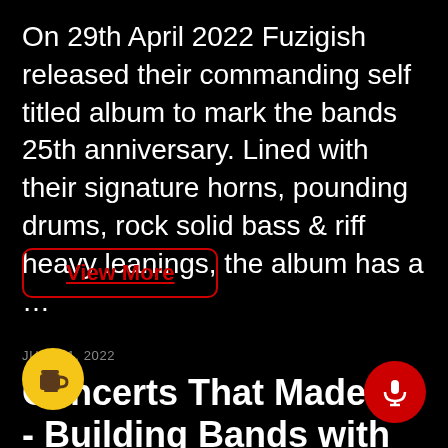On 29th April 2022 Fuzigish released their commanding self titled album to mark the bands 25th anniversary. Lined with their signature horns, pounding drums, rock solid bass & riff heavy leanings, the album has a …
View More
JULY 21, 2022
Concerts That Made Us - Building Bands with Todd Hearty - Former Sony Music Vice President and...